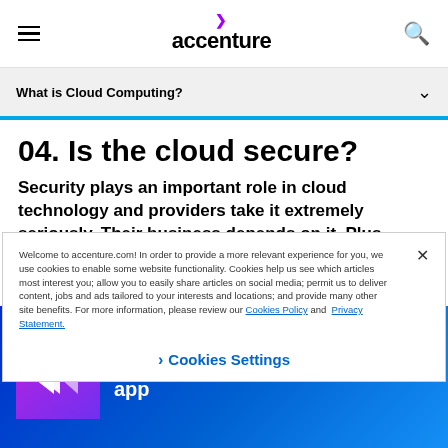[Figure (logo): Accenture logo with purple arrow accent above text, hamburger menu on left, search icon on right]
What is Cloud Computing?
04. Is the cloud secure?
Security plays an important role in cloud technology and providers take it extremely seriously. Their business depends on it. Plus, there are many regulatory bodies and compliance
Welcome to accenture.com! In order to provide a more relevant experience for you, we use cookies to enable some website functionality. Cookies help us see which articles most interest you; allow you to easily share articles on social media; permit us to deliver content, jobs and ads tailored to your interests and locations; and provide many other site benefits. For more information, please review our Cookies Policy and Privacy Statement.
Cookies Settings
[Figure (logo): Accenture Foresight app download banner with purple gradient icon showing double arrow on blue gradient background]
Download Accenture Foresight app